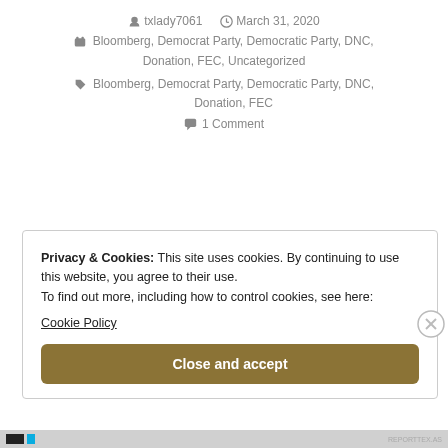txlady7061   March 31, 2020
Bloomberg, Democrat Party, Democratic Party, DNC, Donation, FEC, Uncategorized
Bloomberg, Democrat Party, Democratic Party, DNC, Donation, FEC
1 Comment
Privacy & Cookies: This site uses cookies. By continuing to use this website, you agree to their use. To find out more, including how to control cookies, see here: Cookie Policy
Close and accept